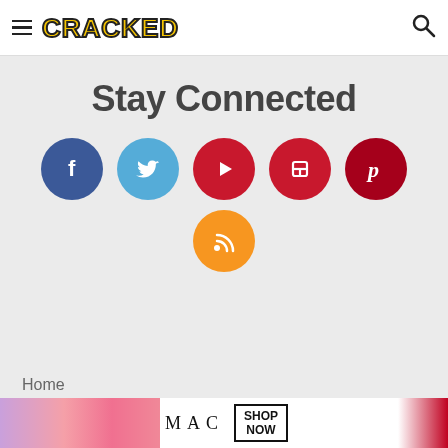CRACKED
Stay Connected
[Figure (infographic): Six social media icons as colored circles: Facebook (dark blue, f), Twitter (light blue, bird), YouTube (red, play button), Flipboard (red, square with f), Pinterest (dark red, p), RSS (orange, wifi signal icon)]
Home
Articles
[Figure (photo): MAC cosmetics advertisement banner showing lipsticks in purple, pink, coral and red colors with MAC logo and SHOP NOW button]